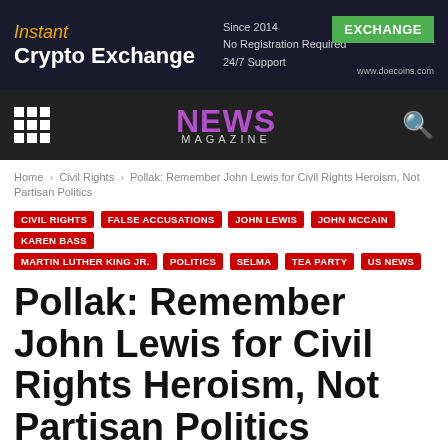Instant Crypto Exchange — Since 2014. No Registration Required. 24/7 Support. EXCHANGE. www.doecoins.com
NEWS MAGAZINE
Home › Civil Rights › Pollak: Remember John Lewis for Civil Rights Heroism, Not Partisan Politics
CIVIL RIGHTS
FALSE ACCUSATIONS
JOHN LEWIS
JOHN MCCAIN
KAREN BASS
MARTIN LUTHER KING JR.
POLITICS
SELMA
TEA PARTY
US NEWS
Pollak: Remember John Lewis for Civil Rights Heroism, Not Partisan Politics
By D. Christoff - July 20, 2020   205   0